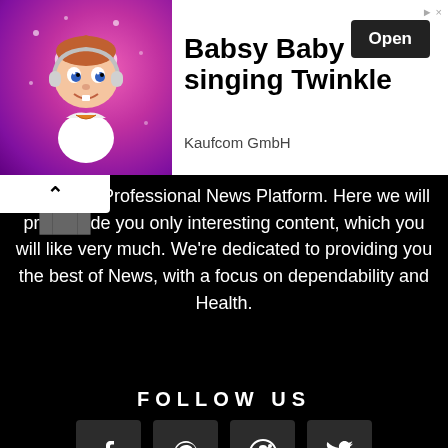[Figure (screenshot): Advertisement banner for 'Babsy Baby singing Twinkle' by Kaufcom GmbH with a cartoon baby image on pink background and an 'Open' button]
...inArts is a Professional News Platform. Here we will provide you only interesting content, which you will like very much. We're dedicated to providing you the best of News, with a focus on dependability and Health.
FOLLOW US
[Figure (infographic): Four social media icon buttons in dark boxes: Facebook (f), Pinterest (p), Reddit, Twitter (bird)]
About Us   Contact Us   Terms and Conditions   Privacy Policy
© 2021 Medicinarts.com - All Rights Reserved.